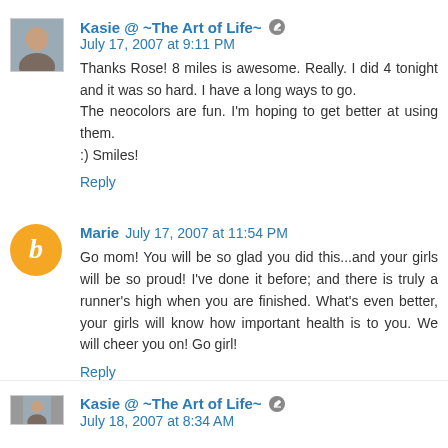Kasie @ ~The Art of Life~ July 17, 2007 at 9:11 PM
Thanks Rose! 8 miles is awesome. Really. I did 4 tonight and it was so hard. I have a long ways to go.
The neocolors are fun. I'm hoping to get better at using them.
:) Smiles!
Reply
Marie July 17, 2007 at 11:54 PM
Go mom! You will be so glad you did this...and your girls will be so proud! I've done it before; and there is truly a runner's high when you are finished. What's even better, your girls will know how important health is to you. We will cheer you on! Go girl!
Reply
Kasie @ ~The Art of Life~ July 18, 2007 at 8:34 AM